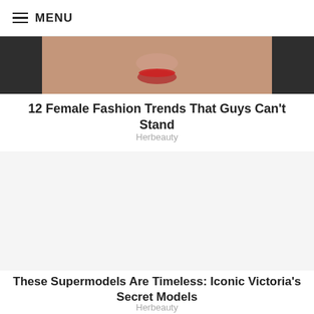≡ MENU
[Figure (photo): Close-up photo of a woman's face showing lips with red lipstick and dark hair on sides]
12 Female Fashion Trends That Guys Can't Stand
Herbeauty
[Figure (other): Advertisement or empty content area]
These Supermodels Are Timeless: Iconic Victoria's Secret Models
Herbeauty
INSTALL APP YETU ⇒ BONYEZA HAPA PELELI HIDI?